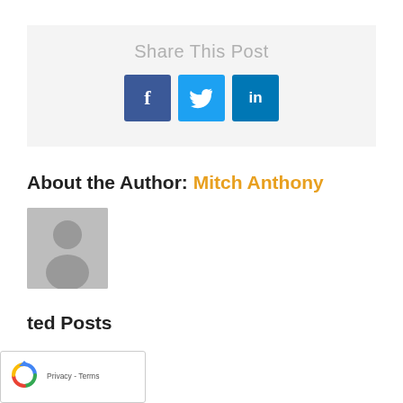Share This Post
[Figure (infographic): Three social media share buttons: Facebook (dark blue, f icon), Twitter (light blue, bird icon), LinkedIn (teal-blue, in icon)]
About the Author: Mitch Anthony
[Figure (photo): Generic user avatar placeholder image (grey background with silhouette of a person)]
ted Posts